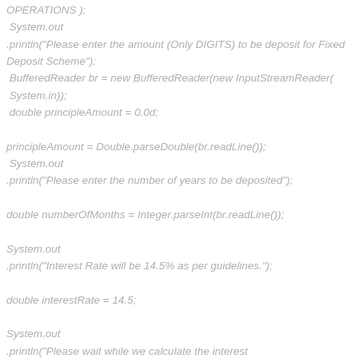OPERATIONS );
 System.out
.println("Please enter the amount (Only DIGITS) to be deposit for Fixed Deposit Scheme");
 BufferedReader br = new BufferedReader(new InputStreamReader(
 System.in));
 double principleAmount = 0.0d;

principleAmount = Double.parseDouble(br.readLine());
 System.out
.println("Please enter the number of years to be deposited");

double numberOfMonths = Integer.parseInt(br.readLine());

System.out
.println("Interest Rate will be 14.5% as per guidelines.");

double interestRate = 14.5;

System.out
.println("Please wait while we calculate the interest ...